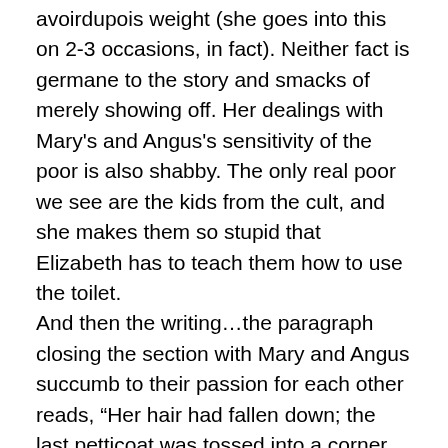avoirdupois weight (she goes into this on 2-3 occasions, in fact). Neither fact is germane to the story and smacks of merely showing off. Her dealings with Mary's and Angus's sensitivity of the poor is also shabby. The only real poor we see are the kids from the cult, and she makes them so stupid that Elizabeth has to teach them how to use the toilet.
And then the writing…the paragraph closing the section with Mary and Angus succumb to their passion for each other reads, “Her hair had fallen down; the last petticoat was tossed into a corner, the camisole and drawers laying on the floor in her wake like exhausted white butterflies.”
Now, don’t get me wrong, I’m no prude–I’m